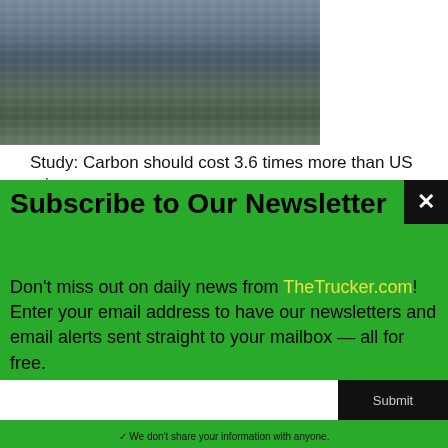[Figure (photo): Aerial photograph of an industrial facility or large parking/storage area with factory buildings in the background]
Study: Carbon should cost 3.6 times more than US price
For over 30 years, the objective of The Trucker editorial team has been to produce content focused on truck drivers that is relevant, objective and engaging. After reading this article, feel free to leave a comment about this article or the topics covered in this article for the author or the other readers to enjoy. Let them know what you think! We always enjoy
Subscribe to Our Newsletter
Don't miss out on daily news from TheTrucker.com! Enter your email address to have our newsletters and email alerts sent straight to your mailbox — all for free.
✓ We don't share your information with anyone.